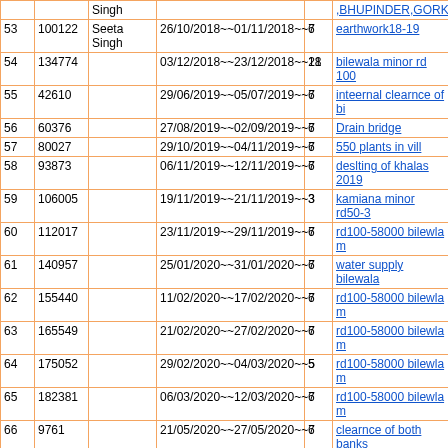| # | Amount | Name | Dates | Days | Work |
| --- | --- | --- | --- | --- | --- |
|  |  | Singh |  |  | ,BHUPINDER,GORK |
| 53 | 100122 | Seeta Singh | 26/10/2018~~01/11/2018~~7 | 6 | earthwork18-19 |
| 54 | 134774 |  | 03/12/2018~~23/12/2018~~21 | 18 | bilewala minor rd 100 |
| 55 | 42610 |  | 29/06/2019~~05/07/2019~~7 | 6 | inteernal clearnce of bi |
| 56 | 60376 |  | 27/08/2019~~02/09/2019~~7 | 6 | Drain bridge |
| 57 | 80027 |  | 29/10/2019~~04/11/2019~~7 | 6 | 550 plants in vill |
| 58 | 93873 |  | 06/11/2019~~12/11/2019~~7 | 6 | deslting of khalas 2019 |
| 59 | 106005 |  | 19/11/2019~~21/11/2019~~3 | 3 | kamiana minor rd50-3 |
| 60 | 112017 |  | 23/11/2019~~29/11/2019~~7 | 6 | rd100-58000 bilewla m |
| 61 | 140957 |  | 25/01/2020~~31/01/2020~~7 | 6 | water supply bilewala |
| 62 | 155440 |  | 11/02/2020~~17/02/2020~~7 | 6 | rd100-58000 bilewla m |
| 63 | 165549 |  | 21/02/2020~~27/02/2020~~7 | 6 | rd100-58000 bilewla m |
| 64 | 175052 |  | 29/02/2020~~04/03/2020~~5 | 5 | rd100-58000 bilewla m |
| 65 | 182381 |  | 06/03/2020~~12/03/2020~~7 | 6 | rd100-58000 bilewla m |
| 66 | 9761 |  | 21/05/2020~~27/05/2020~~7 | 6 | clearnce of both banks |
| 67 | 22398 | Jangir Kaur | 29/05/2020~~04/06/2020~~7 | 6 | clearnce of both banks |
| 68 | 41081 | Seeta Singh | 19/06/2020~~25/06/2020~~7 | 6 | interlock work main ro |
| 69 | 49569 |  | 04/07/2020~~10/07/2020~~7 | 6 | 400 plants in vill beihl |
| 70 | 58987 |  | 13/07/2020~~19/07/2020~~7 | 6 | Cont. of inerlock in vil |
| 71 | 69245 |  | 22/07/2020~~28/07/2020~~7 | 6 | cont. of street Ragbir s |
| 72 | 87048 |  | 06/08/2020~~12/08/2020~~7 | 6 | Deslting of khalas in v |
| 73 | 100928 |  | 18/08/2020~~24/08/2020~~7 | 6 | cont. of street Jagtar si |
| 74 | 147015 |  | 10/10/2020~~16/10/2020~~7 | 6 | Clearince of 25 cha |